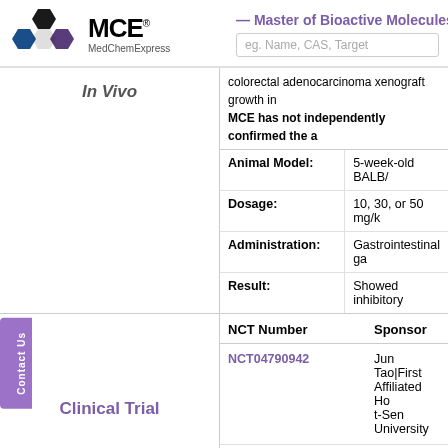[Figure (logo): MCE MedChemExpress logo with hexagonal flower icon in black and blue]
— Master of Bioactive Molecules
eg. Name, CAS, Target
colorectal adenocarcinoma xenograft growth in MCE has not independently confirmed the a
| Animal Model: | 5-week-old BALB/ |
| Dosage: | 10, 30, or 50 mg/k |
| Administration: | Gastrointestinal ga |
| Result: | Showed inhibitory |
| NCT Number | Sponsor |
| --- | --- |
| NCT04790942 | Jun Tao|First Affiliated Ho t-Sen University |
| NCT03378934 | Peking Union Medical Co |